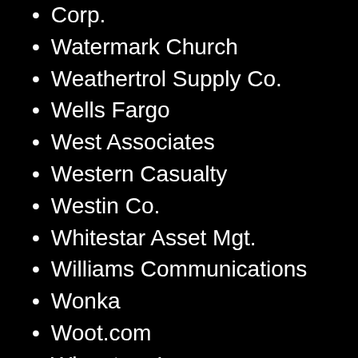Corp.
Watermark Church
Weathertrol Supply Co.
Wells Fargo
West Associates
Western Casualty
Westin Co.
Whitestar Asset Mgt.
Williams Communications
Wonka
Woot.com
Wingstop, Inc.